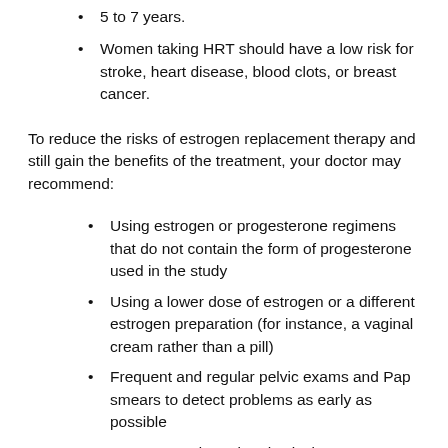5 to 7 years.
Women taking HRT should have a low risk for stroke, heart disease, blood clots, or breast cancer.
To reduce the risks of estrogen replacement therapy and still gain the benefits of the treatment, your doctor may recommend:
Using estrogen or progesterone regimens that do not contain the form of progesterone used in the study
Using a lower dose of estrogen or a different estrogen preparation (for instance, a vaginal cream rather than a pill)
Frequent and regular pelvic exams and Pap smears to detect problems as early as possible
Frequent and regular physical exams, including breast exams and mammograms